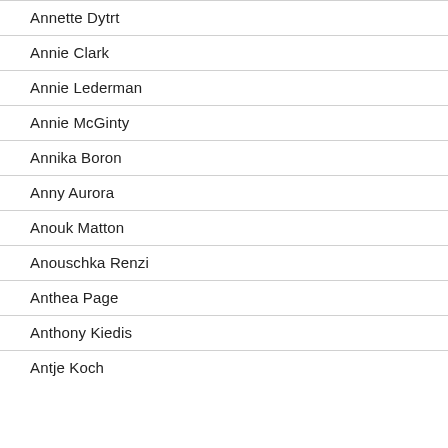Annette Dytrt
Annie Clark
Annie Lederman
Annie McGinty
Annika Boron
Anny Aurora
Anouk Matton
Anouschka Renzi
Anthea Page
Anthony Kiedis
Antje Koch